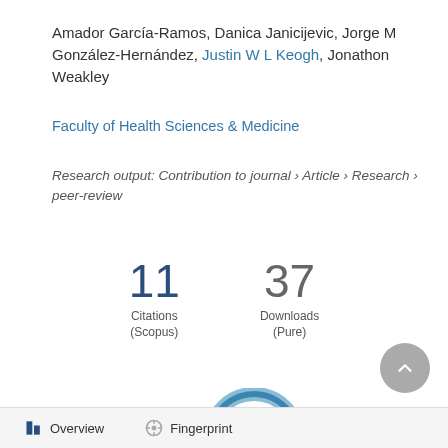Amador García-Ramos, Danica Janicijevic, Jorge M González-Hernández, Justin W L Keogh, Jonathon Weakley
Faculty of Health Sciences & Medicine
Research output: Contribution to journal › Article › Research › peer-review
11 Citations (Scopus)
37 Downloads (Pure)
[Figure (donut-chart): Donut/ring badge showing the number 19 in the center, rendered in teal/blue swirling ring style]
Overview  Fingerprint